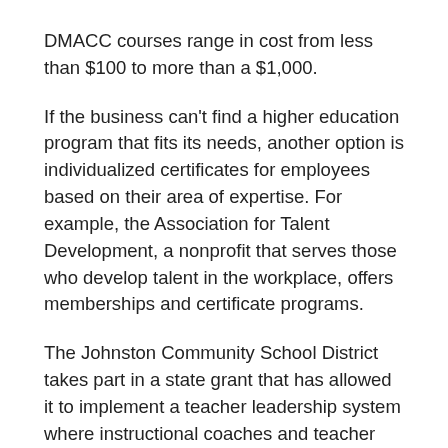DMACC courses range in cost from less than $100 to more than a $1,000.
If the business can't find a higher education program that fits its needs, another option is individualized certificates for employees based on their area of expertise. For example, the Association for Talent Development, a nonprofit that serves those who develop talent in the workplace, offers memberships and certificate programs.
The Johnston Community School District takes part in a state grant that has allowed it to implement a teacher leadership system where instructional coaches and teacher mentors work with other teachers to improve their classroom instruction.
Each week, the district also has a one-hour early out on Wednesdays. During that time period, each building's administrator directs professional learning for his or her own school. Johnston school leaders also schedule seven full days of professional development for teachers. Teachers are paid for their attendance at professional development trainings or days.
The district also reimburses teachers who have a bachelor's